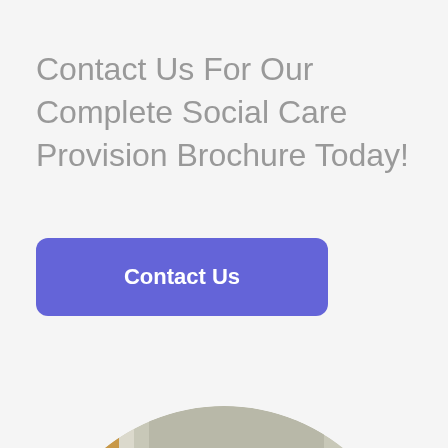Contact Us For Our Complete Social Care Provision Brochure Today!
Contact Us
[Figure (photo): A circular cropped photo showing an interior room with a wooden window frame on the left, a neutral grey wall in the center, and a large green plant on the right.]